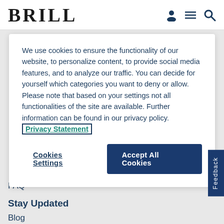BRILL
We use cookies to ensure the functionality of our website, to personalize content, to provide social media features, and to analyze our traffic. You can decide for yourself which categories you want to deny or allow. Please note that based on your settings not all functionalities of the site are available. Further information can be found in our privacy policy. Privacy Statement
Cookies Settings
Accept All Cookies
FAQ
Stay Updated
Blog
Newsletters
News